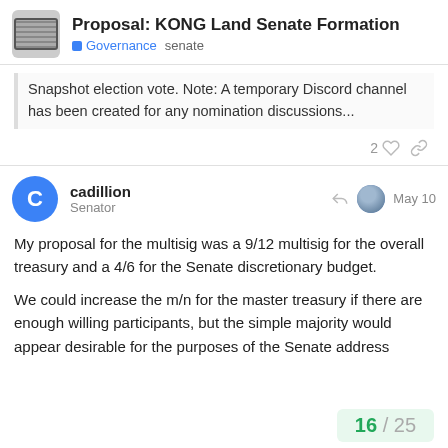Proposal: KONG Land Senate Formation | Governance senate
Snapshot election vote. Note: A temporary Discord channel has been created for any nomination discussions...
cadillion
Senator
May 10
My proposal for the multisig was a 9/12 multisig for the overall treasury and a 4/6 for the Senate discretionary budget.
We could increase the m/n for the master treasury if there are enough willing participants, but the simple majority would appear desirable for the purposes of the Senate address
16 / 25